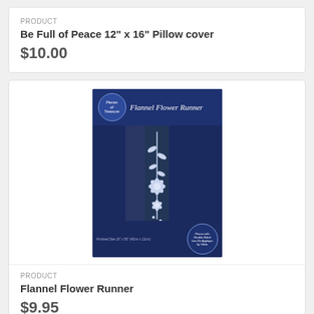PRODUCT
Be Full of Peace 12" x 16" Pillow cover
$10.00
[Figure (photo): Product package for Flannel Flower Runner by Pieces of Treasure, showing a dark navy blue table runner with white flannel flower applique design, displayed outdoors leaning against a wall.]
PRODUCT
Flannel Flower Runner
$9.95